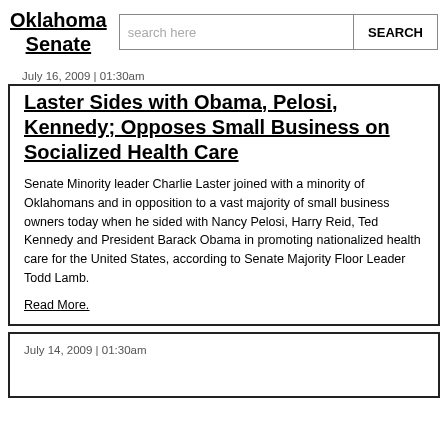Oklahoma Senate
July 16, 2009 | 01:30am
Laster Sides with Obama, Pelosi, Kennedy; Opposes Small Business on Socialized Health Care
Senate Minority leader Charlie Laster joined with a minority of Oklahomans and in opposition to a vast majority of small business owners today when he sided with Nancy Pelosi, Harry Reid, Ted Kennedy and President Barack Obama in promoting nationalized health care for the United States, according to Senate Majority Floor Leader Todd Lamb.
Read More.
July 14, 2009 | 01:30am